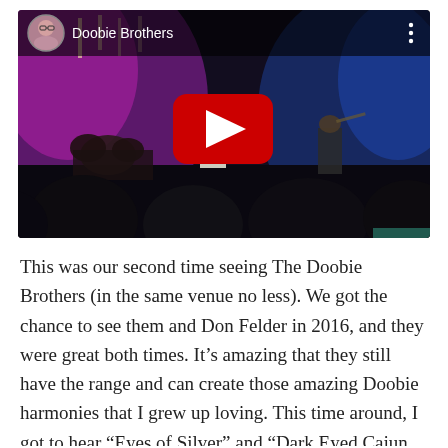[Figure (screenshot): YouTube video embed showing a Doobie Brothers concert. The video thumbnail shows musicians on stage with purple and blue stage lighting, audience silhouettes in the foreground. A YouTube play button overlay is centered on the video. The video header shows a circular avatar (woman with glasses), the channel name 'Doobie Brothers', and a three-dot menu icon.]
This was our second time seeing The Doobie Brothers (in the same venue no less). We got the chance to see them and Don Felder in 2016, and they were great both times. It's amazing that they still have the range and can create those amazing Doobie harmonies that I grew up loving. This time around, I got to hear "Eyes of Silver" and "Dark Eyed Cajun Woman," which was pretty satisfying